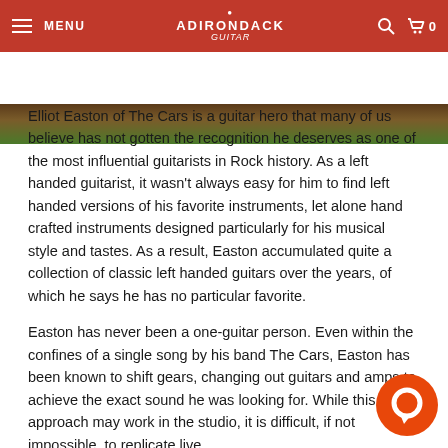MENU | ADIRONDACK Guitar | Search | Cart 0
[Figure (photo): Partial image strip showing a guitar scene with green and brown tones]
Elliot Easton of The Cars is a guitar hero that many of us believe has not gotten the recognition he deserves as one of the most influential guitarists in Rock history. As a left handed guitarist, it wasn't always easy for him to find left handed versions of his favorite instruments, let alone hand crafted instruments designed particularly for his musical style and tastes. As a result, Easton accumulated quite a collection of classic left handed guitars over the years, of which he says he has no particular favorite.
Easton has never been a one-guitar person. Even within the confines of a single song by his band The Cars, Easton has been known to shift gears, changing out guitars and amps to achieve the exact sound he was looking for. While this approach may work in the studio, it is difficult, if not impossible, to replicate live.
Take, for example, the classic Cars song Shake It Up. In the studio version of this classic lead, Easton begins on a Telecaster, played through a small amp, to achieve those cheeky clucks and